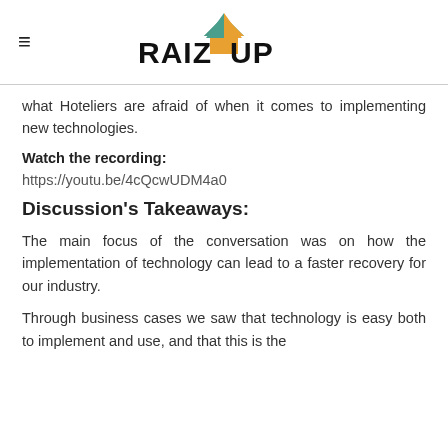RAIZUP
what Hoteliers are afraid of when it comes to implementing new technologies.
Watch the recording:
https://youtu.be/4cQcwUDM4a0
Discussion's Takeaways:
The main focus of the conversation was on how the implementation of technology can lead to a faster recovery for our industry.
Through business cases we saw that technology is easy both to implement and use, and that this is the